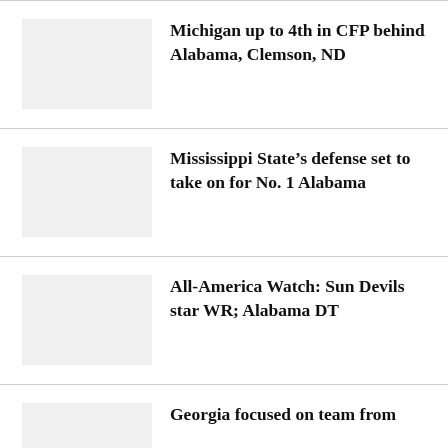Michigan up to 4th in CFP behind Alabama, Clemson, ND
Mississippi State’s defense set to take on for No. 1 Alabama
All-America Watch: Sun Devils star WR; Alabama DT
Georgia focused on team from